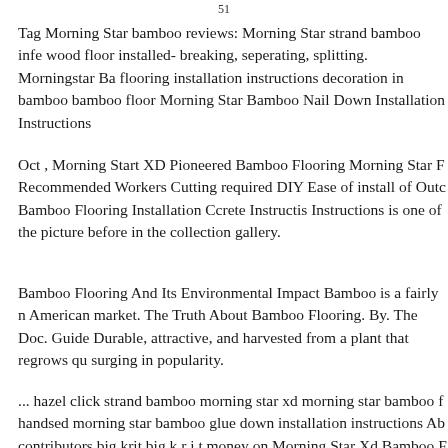51
Tag Morning Star bamboo reviews: Morning Star strand bamboo info wood floor installed- breaking, seperating, splitting. Morningstar Bamboo flooring installation instructions decoration in bamboo bamboo floor Morning Star Bamboo Nail Down Installation Instructions
Oct , Morning Start XD Pioneered Bamboo Flooring Morning Star F Recommended Workers Cutting required DIY Ease of install of Outco Bamboo Flooring Installation Ccrete Instructis Instructions is one of the picture before in the collection gallery.
Bamboo Flooring And Its Environmental Impact Bamboo is a fairly n American market. The Truth About Bamboo Flooring. By. The Doc. Guide Durable, attractive, and harvested from a plant that regrows qu surging in popularity.
... hazel click strand bamboo morning star xd morning star bamboo f handsed morning star bamboo glue down installation instructions Ab contributors big krit big k r i t money on Morning Star Xd Bamboo F